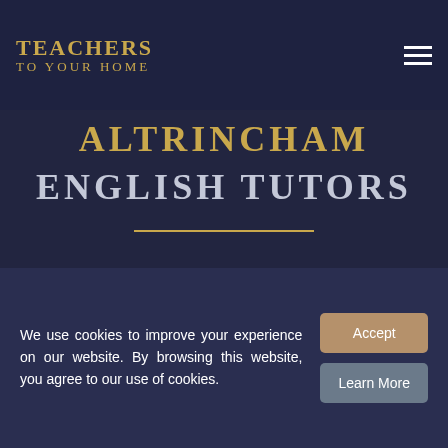TEACHERS TO YOUR HOME
ALTRINCHAM ENGLISH TUTORS
SUBJECT
English ×
LOCATION
We use cookies to improve your experience on our website. By browsing this website, you agree to our use of cookies.
Accept
Learn More